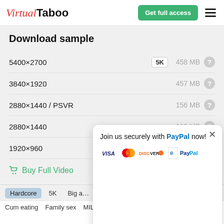Virtual Taboo — Get full access
Download sample
5400×2700 — 5K — 458 MB
3840×1920 — 457 MB
2880×1440 / PSVR — 156 MB
2880×1440 — 110 MB
1920×960 — 95 MB
Buy Full Video
Join us securely with PayPal now!
VISA MasterCard DISCOVER e PayPal
Hardcore  5K  Big a…  Cum eating  Family sex  MILF  Mom son